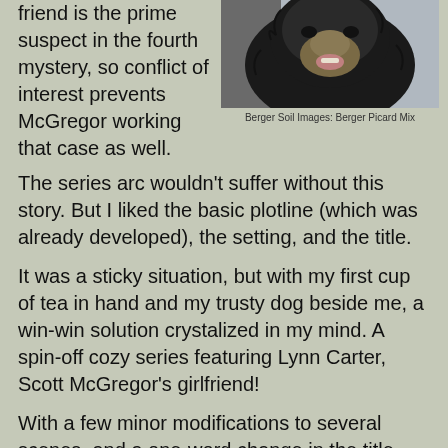friend is the prime suspect in the fourth mystery, so conflict of interest prevents McGregor working that case as well.
[Figure (photo): Close-up photo of a fluffy dark-haired dog, likely a Berger Picard mix, looking slightly upward with its mouth open.]
Berger Soil Images: Berger Picard Mix
The series arc wouldn't suffer without this story. But I liked the basic plotline (which was already developed), the setting, and the title.
It was a sticky situation, but with my first cup of tea in hand and my trusty dog beside me, a win-win solution crystalized in my mind. A spin-off cozy series featuring Lynn Carter, Scott McGregor's girlfriend!
With a few minor modifications to several scenes, and a one-word change in the title, the intended fourth book in a detective mystery series is now the first book in a cozy series. Another out-of-town McGregor mystery was immediately reassigned as the second Lynn Carter Cozy.
And for a bit of eye candy, meet Maisie, Lynn Carter's Berger